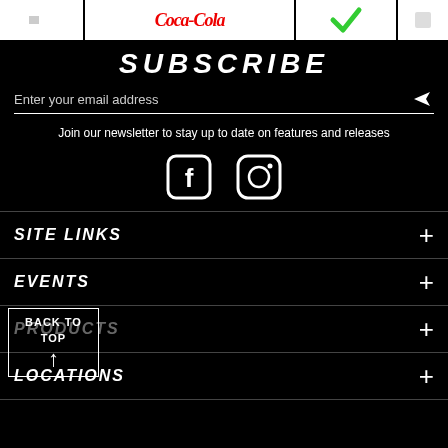[Figure (illustration): Top strip with sponsor/brand logos including Coca-Cola and a green checkmark/badge logo on white backgrounds]
SUBSCRIBE
Enter your email address
Join our newsletter to stay up to date on features and releases
[Figure (illustration): Facebook and Instagram social media icons (white outlines on black background)]
SITE LINKS
EVENTS
PRODUCTS
BACK TO TOP ↑
LOCATIONS